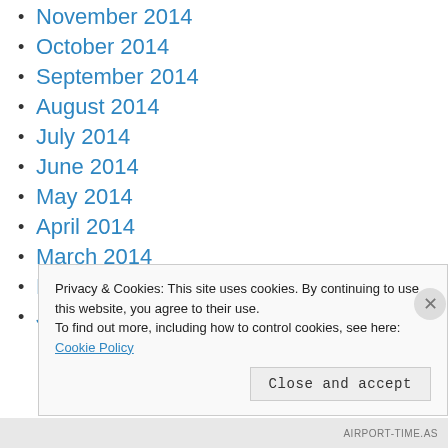November 2014
October 2014
September 2014
August 2014
July 2014
June 2014
May 2014
April 2014
March 2014
February 2014
January 2014
Privacy & Cookies: This site uses cookies. By continuing to use this website, you agree to their use. To find out more, including how to control cookies, see here: Cookie Policy
AIRPORT-TIME.AS